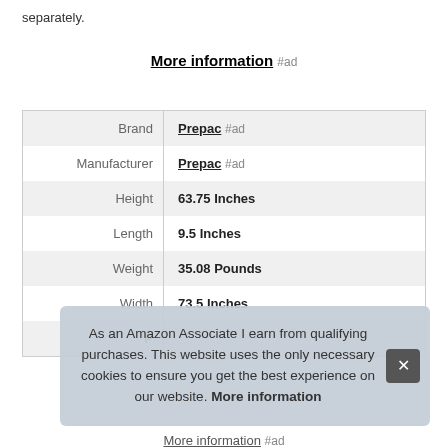separately.
More information #ad
| Brand | Prepac #ad |
| Manufacturer | Prepac #ad |
| Height | 63.75 Inches |
| Length | 9.5 Inches |
| Weight | 35.08 Pounds |
| Width | 73.5 Inches |
| P |  |
As an Amazon Associate I earn from qualifying purchases. This website uses the only necessary cookies to ensure you get the best experience on our website. More information
More information #ad